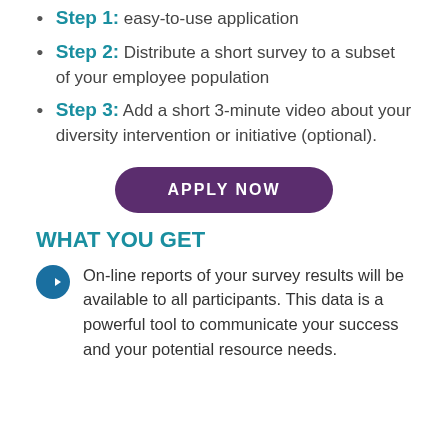Step 1: easy-to-use application
Step 2: Distribute a short survey to a subset of your employee population
Step 3: Add a short 3-minute video about your diversity intervention or initiative (optional).
APPLY NOW
WHAT YOU GET
On-line reports of your survey results will be available to all participants. This data is a powerful tool to communicate your success and your potential resource needs.